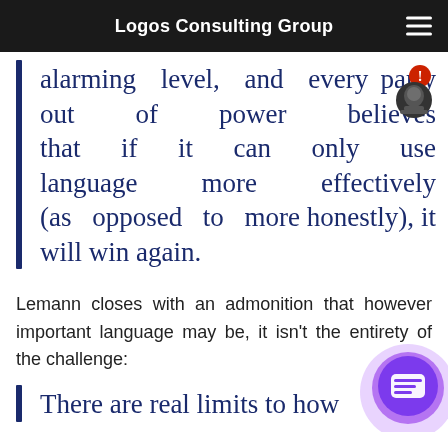Logos Consulting Group
alarming level, and every party out of power believes that if it can only use language more effectively (as opposed to more honestly), it will win again.
Lemann closes with an admonition that however important language may be, it isn't the entirety of the challenge:
There are real limits to how